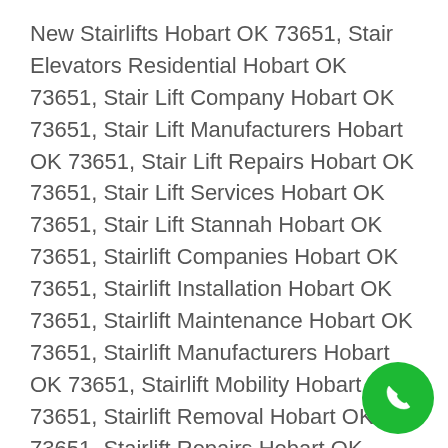New Stairlifts Hobart OK 73651, Stair Elevators Residential Hobart OK 73651, Stair Lift Company Hobart OK 73651, Stair Lift Manufacturers Hobart OK 73651, Stair Lift Repairs Hobart OK 73651, Stair Lift Services Hobart OK 73651, Stair Lift Stannah Hobart OK 73651, Stairlift Companies Hobart OK 73651, Stairlift Installation Hobart OK 73651, Stairlift Maintenance Hobart OK 73651, Stairlift Manufacturers Hobart OK 73651, Stairlift Mobility Hobart OK 73651, Stairlift Removal Hobart OK 73651, Stairlift Repairs Hobart OK 73651, Stairlift Servicing Hobart OK 73651, Stairlift Suppliers Hobart OK 73651, Stairlift Narrow Stairs Hobart OK 73651, Stanner Stairlift
[Figure (illustration): Green circular phone call button in bottom-right corner]